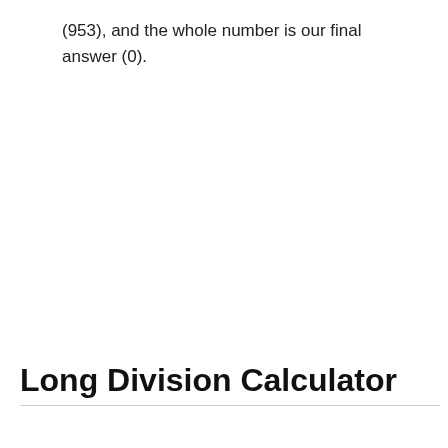(953), and the whole number is our final answer (0).
Long Division Calculator